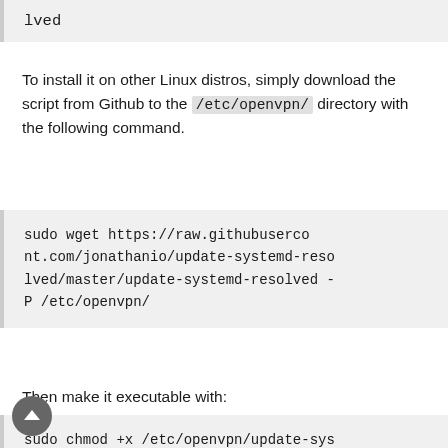lved
To install it on other Linux distros, simply download the script from Github to the /etc/openvpn/ directory with the following command.
sudo wget https://raw.githubusercontent.com/jonathanio/update-systemd-resolved/master/update-systemd-resolved -P /etc/openvpn/
Then make it executable with:
sudo chmod +x /etc/openvpn/update-systemd-resolved